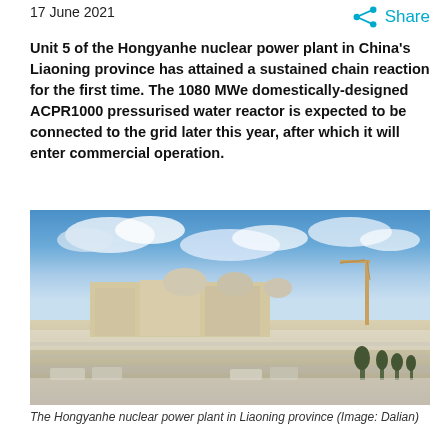17 June 2021
Share
Unit 5 of the Hongyanhe nuclear power plant in China's Liaoning province has attained a sustained chain reaction for the first time. The 1080 MWe domestically-designed ACPR1000 pressurised water reactor is expected to be connected to the grid later this year, after which it will enter commercial operation.
[Figure (photo): Aerial panoramic view of the Hongyanhe nuclear power plant in Liaoning province, China, covered in snow with reactor domes visible and construction crane in background.]
The Hongyanhe nuclear power plant in Liaoning province (Image: Dalian)